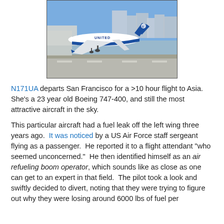[Figure (photo): A United Airlines Boeing 747-400 (tail number N171UA) taking off, with airport buildings in the background. The aircraft is in United Airlines livery with blue and white colors.]
N171UA departs San Francisco for a >10 hour flight to Asia.  She's a 23 year old Boeing 747-400, and still the most attractive aircraft in the sky.
This particular aircraft had a fuel leak off the left wing three years ago.  It was noticed by a US Air Force staff sergeant flying as a passenger.  He reported it to a flight attendant "who seemed unconcerned."  He then identified himself as an air refueling boom operator, which sounds like as close as one can get to an expert in that field.  The pilot took a look and swiftly decided to divert, noting that they were trying to figure out why they were losing around 6000 lbs of fuel per